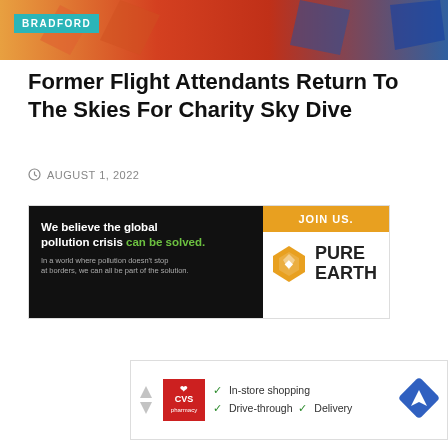[Figure (photo): Header image with colorful background (orange, red, blue tones)]
BRADFORD
Former Flight Attendants Return To The Skies For Charity Sky Dive
AUGUST 1, 2022
[Figure (infographic): Pure Earth advertisement banner: 'We believe the global pollution crisis can be solved. In a world where pollution doesn't stop at borders, we can all be part of the solution.' JOIN US. PURE EARTH logo.]
[Figure (infographic): CVS Pharmacy advertisement: In-store shopping, Drive-through, Delivery with navigation icon]